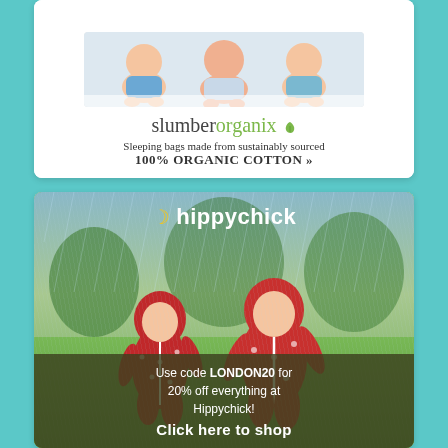[Figure (photo): SlumberOrganix advertisement showing babies lying on white bedding with brand name and tagline: Sleeping bags made from sustainably sourced 100% ORGANIC COTTON]
[Figure (photo): Hippychick advertisement showing two children in red polka-dot rain suits running in the rain with green grass background. Logo at top with crescent moon icon. Promo banner: Use code LONDON20 for 20% off everything at Hippychick! Click here to shop]